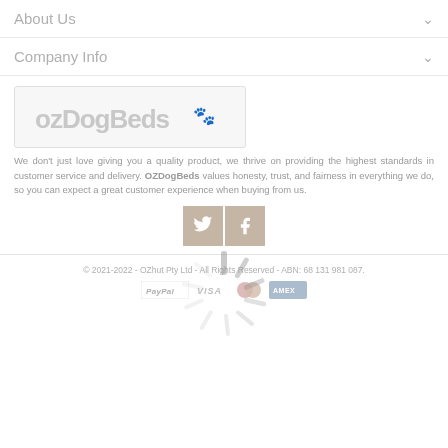About Us
Company Info
[Figure (logo): OzDogBeds logo with paw print icon on light grey background]
We don't just love giving you a quality product, we thrive on providing the highest standards in customer service and delivery. OZDogBeds values honesty, trust, and fairness in everything we do, so you can expect a great customer experience when buying from us.
[Figure (infographic): Social media buttons: Twitter (bird icon) and Facebook (f icon) in tan/beige square buttons]
[Figure (infographic): Loading spinner overlay (spinning wheel icon)]
© 2021-2022 - OZhut Pty Ltd - All Rights Reserved - ABN: 68 131 981 087.
[Figure (infographic): Payment method icons: PayPal, VISA, Mastercard, American Express]